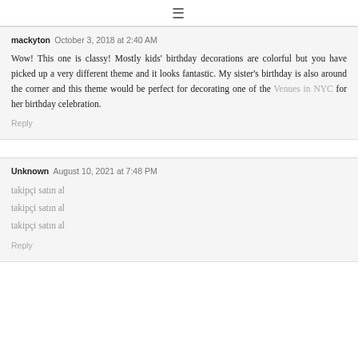≡
mackyton  October 3, 2018 at 2:40 AM
Wow! This one is classy! Mostly kids' birthday decorations are colorful but you have picked up a very different theme and it looks fantastic. My sister's birthday is also around the corner and this theme would be perfect for decorating one of the Venues in NYC for her birthday celebration.
Reply
Unknown  August 10, 2021 at 7:48 PM
takipçi satın al
takipçi satın al
takipçi satın al
Reply